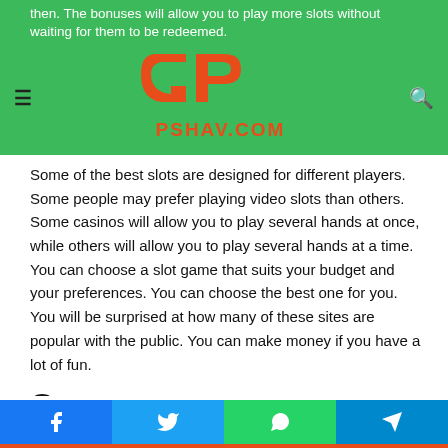pshav.com — navigation header with logo
then. The bonuses will allow you to play more slots without waiting for them to be redeemed.
Some of the best slots are designed for different players. Some people may prefer playing video slots than others. Some casinos will allow you to play several hands at once, while others will allow you to play several hands at a time. You can choose a slot game that suits your budget and your preferences. You can choose the best one for you. You will be surprised at how many of these sites are popular with the public. You can make money if you have a lot of fun.
Summary:
Most of these slots are easy to play. You can play them for free and make real money with them. It is a great way to meet new
Social share buttons: Facebook, Twitter, WhatsApp, Telegram